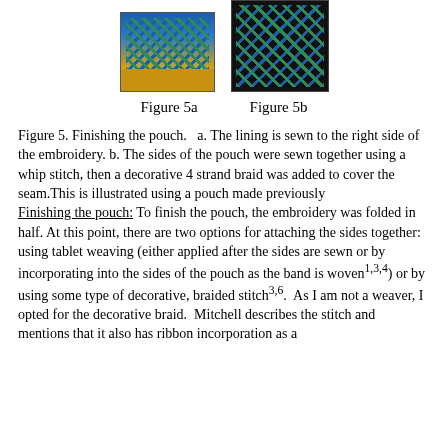[Figure (photo): Two photos side by side showing embroidery/pouch work. Left image (Figure 5a) shows blue and green embroidered piece on gold background. Right image (Figure 5b) shows similar embroidered piece on black background.]
Figure 5a        Figure 5b
Figure 5. Finishing the pouch.   a. The lining is sewn to the right side of the embroidery. b. The sides of the pouch were sewn together using a whip stitch, then a decorative 4 strand braid was added to cover the seam.This is illustrated using a pouch made previously
Finishing the pouch: To finish the pouch, the embroidery was folded in half. At this point, there are two options for attaching the sides together: using tablet weaving (either applied after the sides are sewn or by incorporating into the sides of the pouch as the band is woven1,3,4) or by using some type of decorative, braided stitch3,6.  As I am not a weaver, I opted for the decorative braid.  Mitchell describes the stitch and mentions that it also has ribbon incorporation as a